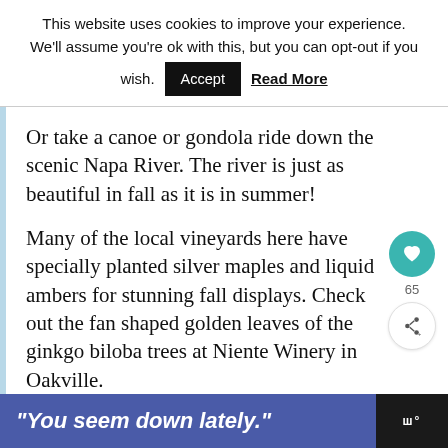This website uses cookies to improve your experience. We'll assume you're ok with this, but you can opt-out if you wish. Accept Read More
Or take a canoe or gondola ride down the scenic Napa River. The river is just as beautiful in fall as it is in summer!
Many of the local vineyards here have specially planted silver maples and liquid ambers for stunning fall displays. Check out the fan shaped golden leaves of the ginkgo biloba trees at Niente Winery in Oakville.
"You seem down lately."